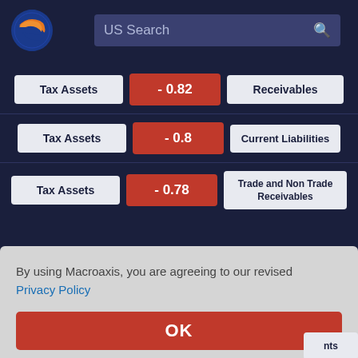[Figure (logo): Macroaxis globe logo with orange and blue colors]
US Search
| Item 1 | Correlation | Item 2 |
| --- | --- | --- |
| Tax Assets | - 0.82 | Receivables |
| Tax Assets | - 0.8 | Current Liabilities |
| Tax Assets | - 0.78 | Trade and Non Trade Receivables |
By using Macroaxis, you are agreeing to our revised Privacy Policy
OK